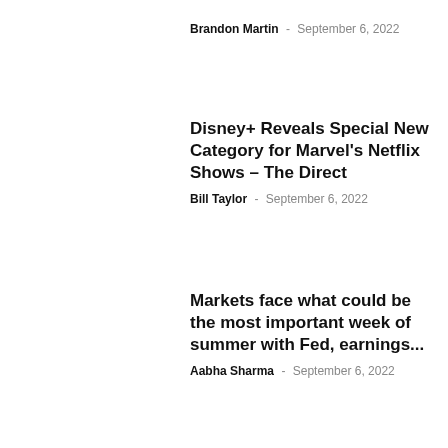Brandon Martin - September 6, 2022
Disney+ Reveals Special New Category for Marvel's Netflix Shows – The Direct
Bill Taylor - September 6, 2022
Markets face what could be the most important week of summer with Fed, earnings...
Aabha Sharma - September 6, 2022